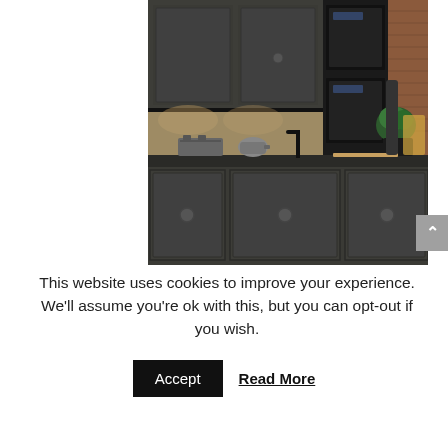[Figure (photo): A dark grey shaker-style kitchen with upper and lower cabinets, black countertops, built-in ovens, a black tap, toaster, kettle, and a brick wall background with under-cabinet lighting.]
This website uses cookies to improve your experience. We'll assume you're ok with this, but you can opt-out if you wish.
Accept
Read More